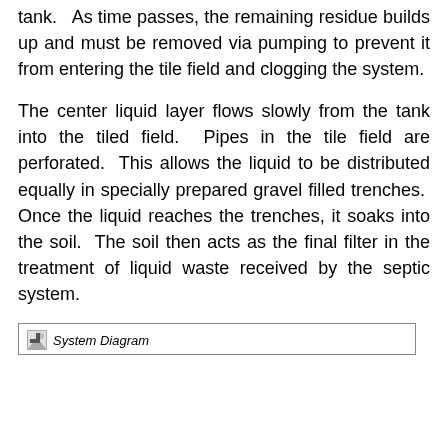tank.  As time passes, the remaining residue builds up and must be removed via pumping to prevent it from entering the tile field and clogging the system.
The center liquid layer flows slowly from the tank into the tiled field.  Pipes in the tile field are perforated.  This allows the liquid to be distributed equally in specially prepared gravel filled trenches.  Once the liquid reaches the trenches, it soaks into the soil.  The soil then acts as the final filter in the treatment of liquid waste received by the septic system.
[Figure (illustration): System Diagram image placeholder with icon and italic caption label]